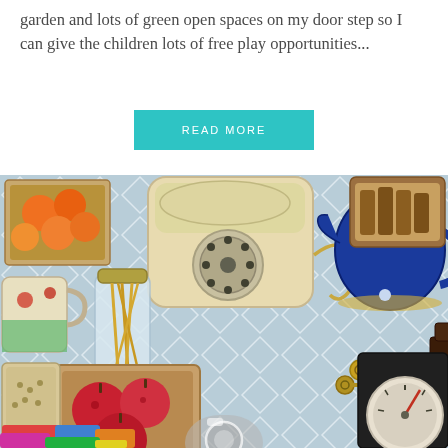garden and lots of green open spaces on my door step so I can give the children lots of free play opportunities...
[Figure (other): A teal/cyan rectangular button with white uppercase text reading 'READ MORE']
[Figure (photo): Overhead flat-lay photograph on a light blue geometric patterned surface showing various objects: a vintage cream rotary telephone, a blue ceramic teapot, a wooden tray of oranges/tangerines, a ceramic mug, a glass jar with dried pasta/sticks, keys, a wooden tray with red apples, a toy/ornament cat figure, a kitchen weighing scale, a container of grains/oats, colorful felt items, and chocolate pieces. At the bottom edge there is a partial camera icon overlay.]